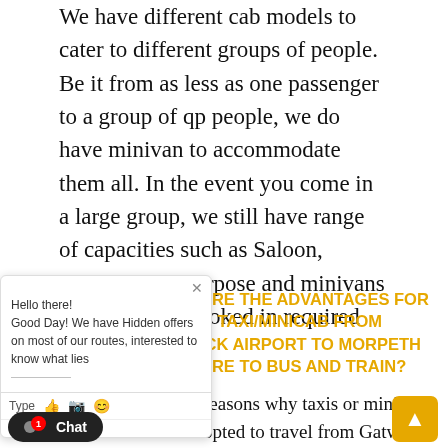We have different cab models to cater to different groups of people. Be it from as less as one passenger to a group of qp people, we do have minivan to accommodate them all. In the event you come in a large group, we still have range of capacities such as Saloon, Estate, multi-purpose and minivans which can be booked in required numbers.
[Figure (screenshot): Live chat widget overlay showing greeting message: 'Hello there! Good Day! We have Hidden offers on most of our routes, interested to know what lies...' with a Type input bar and icons.]
ARE THE ADVANTAGES FOR G TAXI/MINICAB FROM ICK AIRPORT TO MORPETH ARE TO BUS AND TRAIN?
the reasons why taxis or minicabs are opted to travel from Gatwick Airport to Morpeth is the customized services. Unlike public transport, they do not
[Figure (screenshot): Chat button at bottom left (dark background, dot icon, 'Chat' label with red badge showing '1') and a yellow scroll-to-top button at bottom right.]